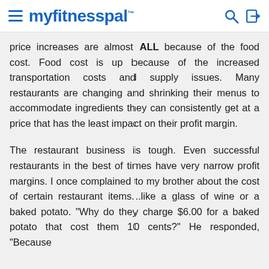myfitnesspal
price increases are almost ALL because of the food cost. Food cost is up because of the increased transportation costs and supply issues. Many restaurants are changing and shrinking their menus to accommodate ingredients they can consistently get at a price that has the least impact on their profit margin.
The restaurant business is tough. Even successful restaurants in the best of times have very narrow profit margins. I once complained to my brother about the cost of certain restaurant items...like a glass of wine or a baked potato. "Why do they charge $6.00 for a baked potato that cost them 10 cents?" He responded, "Because